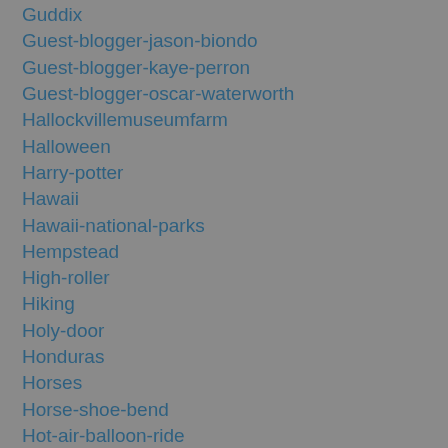Guddix
Guest-blogger-jason-biondo
Guest-blogger-kaye-perron
Guest-blogger-oscar-waterworth
Hallockvillemuseumfarm
Halloween
Harry-potter
Hawaii
Hawaii-national-parks
Hempstead
High-roller
Hiking
Holy-door
Honduras
Horses
Horse-shoe-bend
Hot-air-balloon-ride
Hotel-travel-tips
Hsi-lai-temple
Huntington-gardens
Iceland